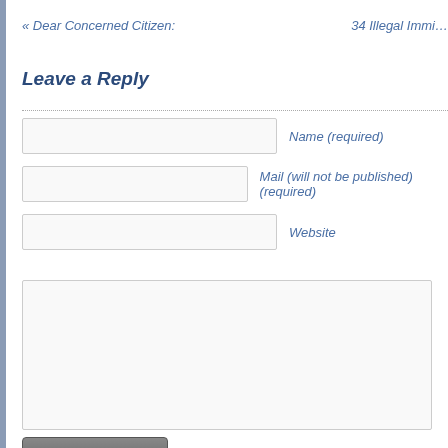« Dear Concerned Citizen:
34 Illegal Immi…
Leave a Reply
Name (required)
Mail (will not be published) (required)
Website
Submit Comment